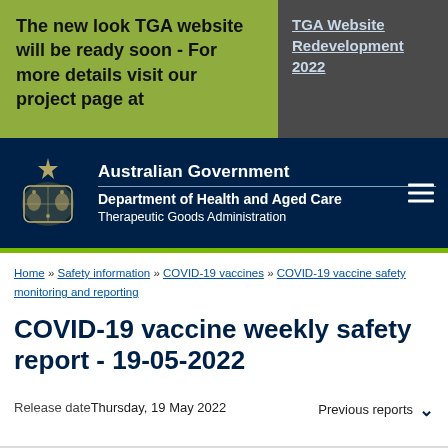The new look TGA website will be ready soon - For more details visit our project page at
TGA Website Redevelopment 2022
[Figure (logo): Australian Government Department of Health and Aged Care Therapeutic Goods Administration header with coat of arms logo on dark navy background]
Home » Safety information » COVID-19 vaccines » COVID-19 vaccine safety monitoring and reporting
COVID-19 vaccine weekly safety report - 19-05-2022
Release date
Thursday, 19 May 2022
Previous reports